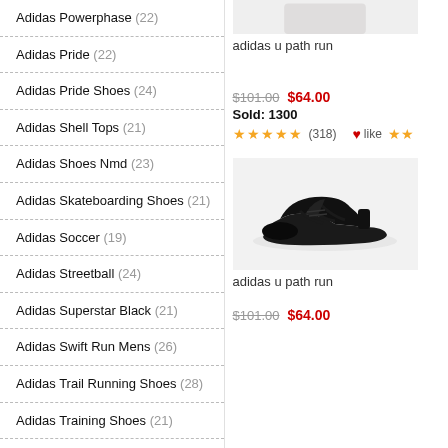Adidas Powerphase (22)
Adidas Pride (22)
Adidas Pride Shoes (24)
Adidas Shell Tops (21)
Adidas Shoes Nmd (23)
Adidas Skateboarding Shoes (21)
Adidas Soccer (19)
Adidas Streetball (24)
Adidas Superstar Black (21)
Adidas Swift Run Mens (26)
Adidas Trail Running Shoes (28)
Adidas Training Shoes (21)
Adidas U Path (23)
Adidas Weightlifting Shoes (26)
Adidas Womens Shoes Sale (26)
Beastie Boys Adidas (2)
adidas u path run
$101.00  $64.00
Sold: 1300
★★★★★(318)  like ★★
[Figure (photo): Black Adidas U Path Run sneaker on light grey background]
adidas u path run
$101.00  $64.00